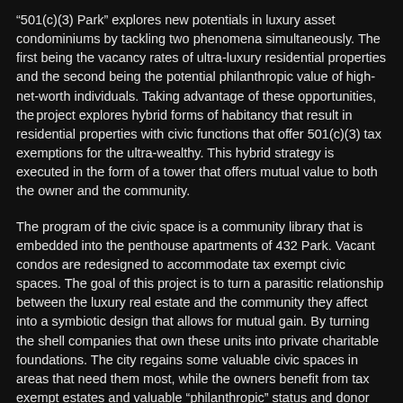“501(c)(3) Park” explores new potentials in luxury asset condominiums by tackling two phenomena simultaneously. The first being the vacancy rates of ultra-luxury residential properties and the second being the potential philanthropic value of high-net-worth individuals. Taking advantage of these opportunities, the project explores hybrid forms of habitancy that result in residential properties with civic functions that offer 501(c)(3) tax exemptions for the ultra-wealthy. This hybrid strategy is executed in the form of a tower that offers mutual value to both the owner and the community.
The program of the civic space is a community library that is embedded into the penthouse apartments of 432 Park. Vacant condos are redesigned to accommodate tax exempt civic spaces. The goal of this project is to turn a parasitic relationship between the luxury real estate and the community they affect into a symbiotic design that allows for mutual gain. By turning the shell companies that own these units into private charitable foundations. The city regains some valuable civic spaces in areas that need them most, while the owners benefit from tax exempt estates and valuable “philanthropic” status and donor recognition.